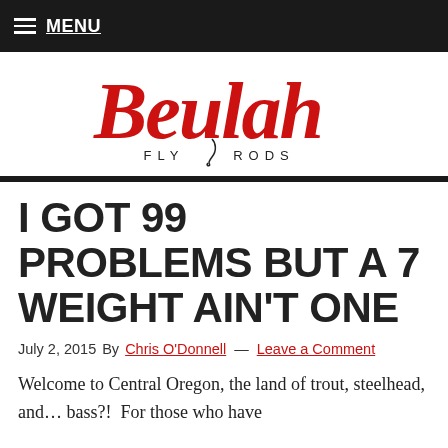≡ MENU
[Figure (logo): Beulah Fly Rods logo — cursive red 'Beulah' script above 'FLY RODS' in small caps, with a fly fishing hook graphic between the words]
I GOT 99 PROBLEMS BUT A 7 WEIGHT AIN'T ONE
July 2, 2015 By Chris O'Donnell — Leave a Comment
Welcome to Central Oregon, the land of trout, steelhead, and… bass?!  For those who have